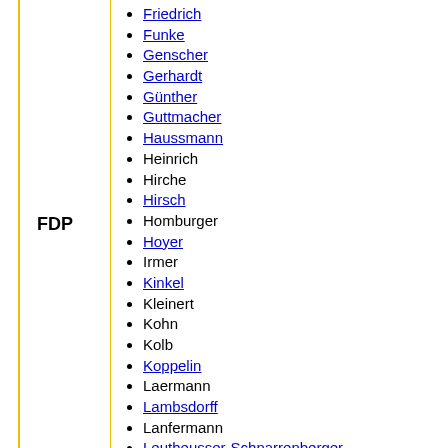FDP
Friedrich
Funke
Genscher
Gerhardt
Günther
Guttmacher
Haussmann
Heinrich
Hirche
Hirsch
Homburger
Hoyer
Irmer
Kinkel
Kleinert
Kohn
Kolb
Koppelin
Laermann
Lambsdorff
Lanfermann
Leutheusser-Schnarrenberger
Lühr
Möllemann
Nolting